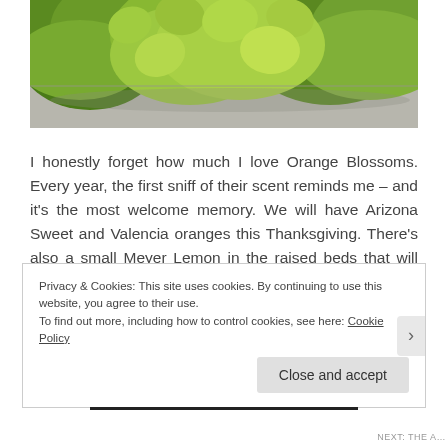[Figure (photo): Close-up photograph of green leafy plants (lettuce or similar greens) growing on a light-colored stone or concrete surface]
I honestly forget how much I love Orange Blossoms. Every year, the first sniff of their scent reminds me – and it's the most welcome memory. We will have Arizona Sweet and Valencia oranges this Thanksgiving. There's also a small Meyer Lemon in the raised beds that will provide some shade in the summer.
Privacy & Cookies: This site uses cookies. By continuing to use this website, you agree to their use.
To find out more, including how to control cookies, see here: Cookie Policy
[Close and accept]